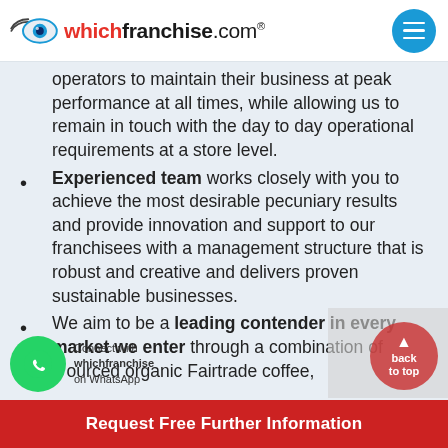whichfranchise.com®
operators to maintain their business at peak performance at all times, while allowing us to remain in touch with the day to day operational requirements at a store level.
Experienced team works closely with you to achieve the most desirable pecuniary results and provide innovation and support to our franchisees with a management structure that is robust and creative and delivers proven sustainable businesses.
We aim to be a leading contender in every market we enter through a combination of ourced organic Fairtrade coffee,
Request Free Further Information